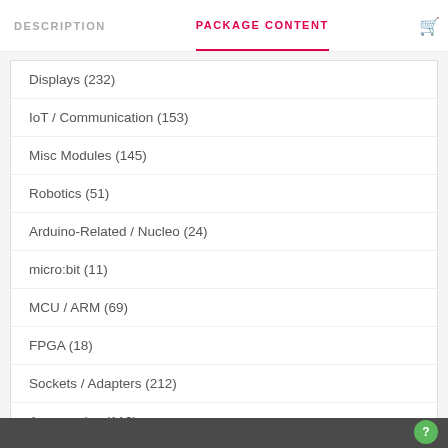DESCRIPTION | PACKAGE CONTENT
Displays (232)
IoT / Communication (153)
Misc Modules (145)
Robotics (51)
Arduino-Related / Nucleo (24)
micro:bit (11)
MCU / ARM (69)
FPGA (18)
Sockets / Adapters (212)
Accessories (112)